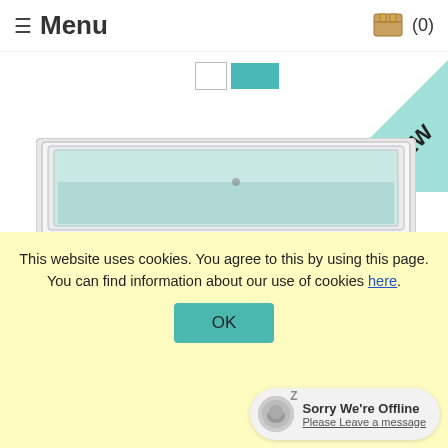≡ Menu (0)
[Figure (screenshot): Small UI elements: quantity input box and teal add-to-cart button]
[Figure (illustration): NEW ribbon badge in teal color with diagonal text 'NEW' in dark letters, positioned at top-right corner]
[Figure (photo): Partial view of a white ornate picture frame containing a teal/beach scene artwork]
This website uses cookies. You agree to this by using this page. You can find information about our use of cookies here.
[Figure (screenshot): OK button in teal color]
Sorry We're Offline Please Leave a message